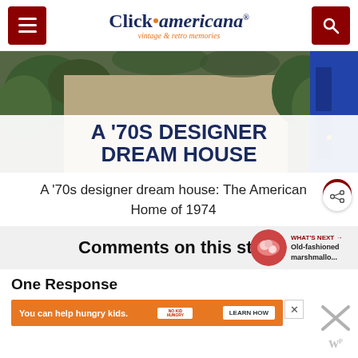Click Americana — vintage & retro memories
[Figure (photo): Hero image showing a 1970s house exterior with plants and a blue door, overlaid with white banner text 'A '70s DESIGNER DREAM HOUSE']
A '70s designer dream house: The American Home of 1974
Comments on this story
WHAT'S NEXT → Old-fashioned marshmallo...
One Response
You can help hungry kids. NO KID HUNGRY LEARN HOW